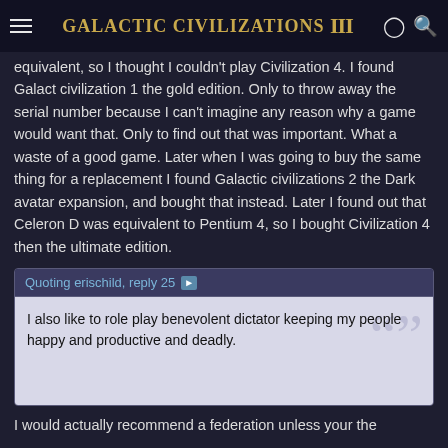Galactic Civilizations III
equivalent, so I thought I couldn't play Civilization 4. I found Galact civilization 1 the gold edition. Only to throw away the serial number because I can't imagine any reason why a game would want that. Only to find out that was important. What a waste of a good game. Later when I was going to buy the same thing for a replacement I found Galactic civilizations 2 the Dark avatar expansion, and bought that instead. Later I found out that Celeron D was equivalent to Pentium 4, so I bought Civilization 4 then the ultimate edition.
Quoting erischild, reply 25
I also like to role play benevolent dictator keeping my people happy and productive and deadly.
I would actually recommend a federation unless your the